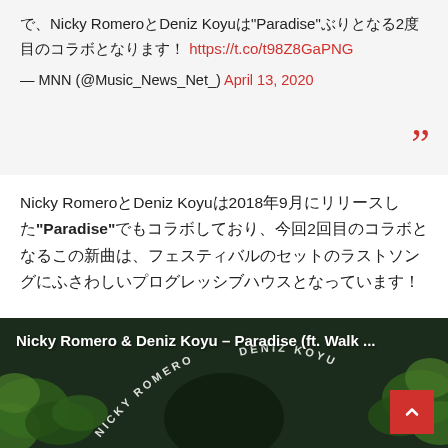で、Nicky RomeroとDeniz Koyuは"Paradise"ぶりとなる2度目のコラボとなります！ https://t.co/t98Z8GaPNG
— MNN (@Music_News_Net_) April 13, 2020
Nicky RomeroとDeniz Koyuは2018年9月にリリースした"Paradise"でもコラボしており、今回2回目のコラボとなるこの新曲は、フェスティバルのセットのラストソングにふさわしいプログレッシブハウスとなっています！
[Figure (screenshot): Video thumbnail showing Nicky Romero & Deniz Koyu – Paradise (ft. Walk ...) with dark green foliage background and artist names in arc text]